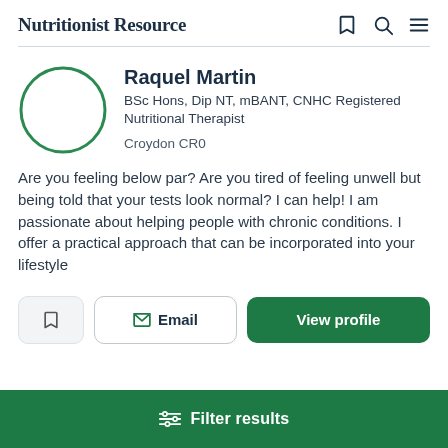Nutritionist Resource
Raquel Martin
BSc Hons, Dip NT, mBANT, CNHC Registered Nutritional Therapist
Croydon CR0
Are you feeling below par? Are you tired of feeling unwell but being told that your tests look normal? I can help! I am passionate about helping people with chronic conditions. I offer a practical approach that can be incorporated into your lifestyle
Email
View profile
Filter results